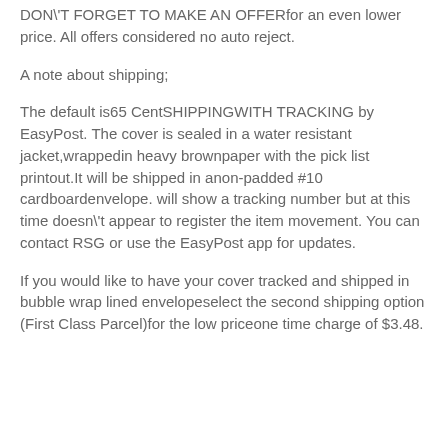DON'T FORGET TO MAKE AN OFFERfor an even lower price. All offers considered no auto reject.
A note about shipping;
The default is65 CentSHIPPINGWITH TRACKING by EasyPost. The cover is sealed in a water resistant jacket,wrappedin heavy brownpaper with the pick list printout.It will be shipped in anon-padded #10 cardboardenvelope. will show a tracking number but at this time doesn't appear to register the item movement. You can contact RSG or use the EasyPost app for updates.
If you would like to have your cover tracked and shipped in bubble wrap lined envelopeselect the second shipping option (First Class Parcel)for the low priceone time charge of $3.48.